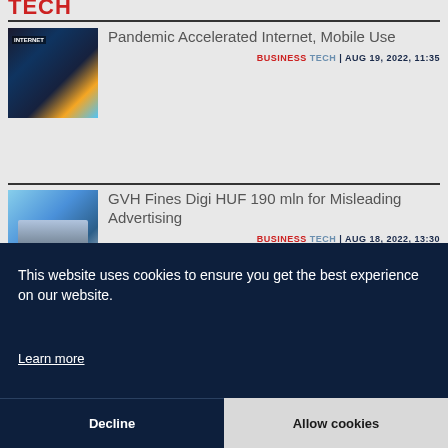TECH
[Figure (photo): Photo of ethernet cables with blue cable prominent and INTERNET text in background]
Pandemic Accelerated Internet, Mobile Use
BUSINESS TECH | AUG 19, 2022, 11:35
[Figure (photo): Photo of Digi company building with glass facade and Digi logo]
GVH Fines Digi HUF 190 mln for Misleading Advertising
BUSINESS TECH | AUG 18, 2022, 13:30
This website uses cookies to ensure you get the best experience on our website.
Learn more
Decline
Allow cookies